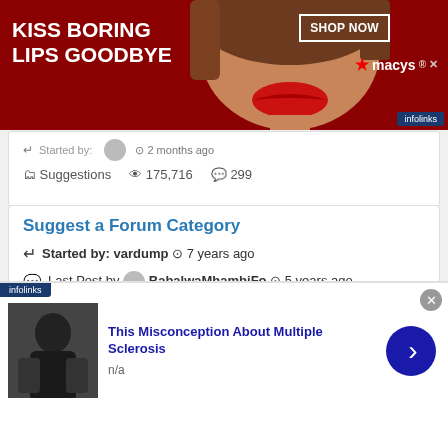[Figure (screenshot): Macy's advertisement banner: red background, woman with red lips, text 'KISS BORING LIPS GOODBYE', 'SHOP NOW' button, Macy's star logo, infolinks badge]
Started by: [user] ⊙ 2 months ago | 📁 Suggestions 👁 175,716 💬 299
Suggest a Forum Category
Started by: vardump ⊙ 7 years ago
Last Post by BabalwaMhambiFo ⊙ 5 years ago
📁 Suggestions 👁 8,456 💬 6
Impossible De Collecter Pièces Gratuites
Started by: Oliver13600 ⊙ 4 months ago
👁 663
[Figure (screenshot): Infolinks ad: thumbnail image of person, headline 'This Misconception About Multiple Sclerosis', subtext 'n/a', blue arrow button, close X button]